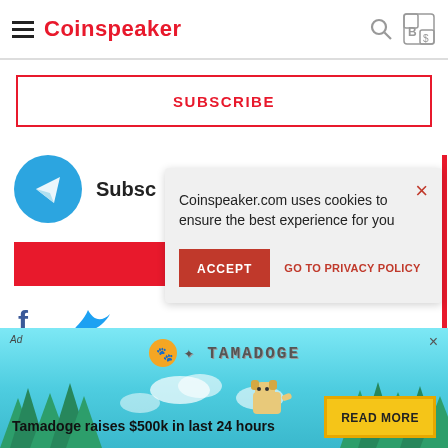Coinspeaker
SUBSCRIBE
[Figure (logo): Telegram blue circle logo with paper plane icon, with partial text 'Subsc']
[Figure (infographic): Cookie consent banner: 'Coinspeaker.com uses cookies to ensure the best experience for you' with ACCEPT button and GO TO PRIVACY POLICY link]
[Figure (infographic): Tamadoge promotional bottom banner with logo, trees background, text 'Tamadoge raises $500k in last 24 hours' and READ MORE button]
Tamadoge raises $500k in last 24 hours